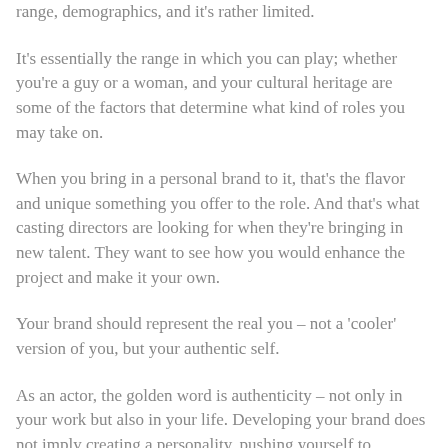range, demographics, and it's rather limited.
It's essentially the range in which you can play; whether you're a guy or a woman, and your cultural heritage are some of the factors that determine what kind of roles you may take on.
When you bring in a personal brand to it, that's the flavor and unique something you offer to the role. And that's what casting directors are looking for when they're bringing in new talent. They want to see how you would enhance the project and make it your own.
Your brand should represent the real you – not a 'cooler' version of you, but your authentic self.
As an actor, the golden word is authenticity – not only in your work but also in your life. Developing your brand does not imply creating a personality, pushing yourself to extremes, imitating